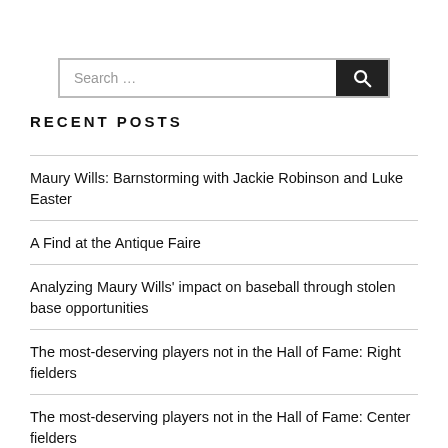Search …
RECENT POSTS
Maury Wills: Barnstorming with Jackie Robinson and Luke Easter
A Find at the Antique Faire
Analyzing Maury Wills' impact on baseball through stolen base opportunities
The most-deserving players not in the Hall of Fame: Right fielders
The most-deserving players not in the Hall of Fame: Center fielders